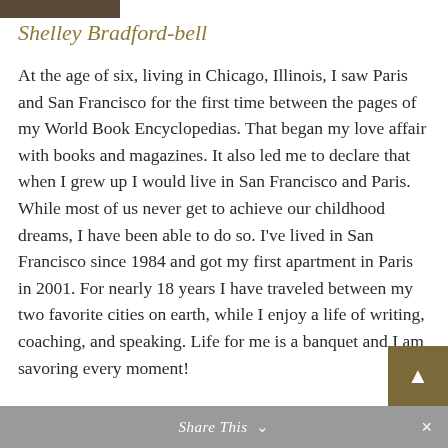[Figure (photo): Partial photo strip at top of page]
Shelley Bradford-bell
At the age of six, living in Chicago, Illinois, I saw Paris and San Francisco for the first time between the pages of my World Book Encyclopedias. That began my love affair with books and magazines. It also led me to declare that when I grew up I would live in San Francisco and Paris. While most of us never get to achieve our childhood dreams, I have been able to do so. I've lived in San Francisco since 1984 and got my first apartment in Paris in 2001. For nearly 18 years I have traveled between my two favorite cities on earth, while I enjoy a life of writing, coaching, and speaking. Life for me is a banquet and I am savoring every moment!
Share This ∨ ×